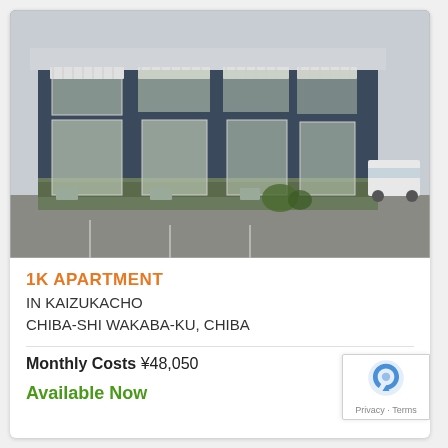[Figure (photo): Exterior photo of a 2-story Japanese apartment building with dark blue/grey siding, multiple units with sliding glass doors, white balcony railings, and a parking area in front.]
1K APARTMENT
IN KAIZUKACHO
CHIBA-SHI WAKABA-KU, CHIBA
Monthly Costs ¥48,050
Available Now